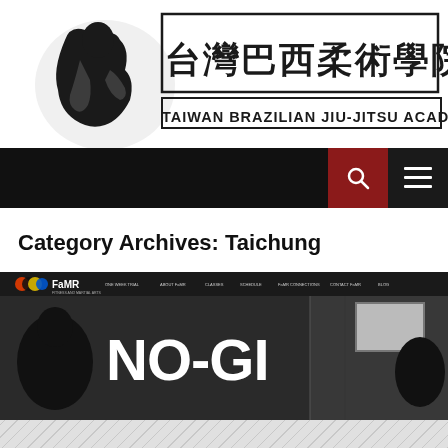[Figure (logo): Taiwan Brazilian Jiu-Jitsu Academy logo with Chinese characters 台灣巴西柔術學院 and English text TAIWAN BRAZILIAN JIU-JITSU ACADEMY]
[Figure (screenshot): Navigation bar with dark background, red search button with magnifying glass icon, and dark menu button with three horizontal lines]
Category Archives: Taichung
[Figure (screenshot): FaMR website screenshot showing NO-GI banner in black and white with navigation menu including ONE WEEK TRIAL, ABOUT FaMR, CLASSES, SCHEDULE, FaMR CONNECTIONS, CONTACT FaMR, BLOG]